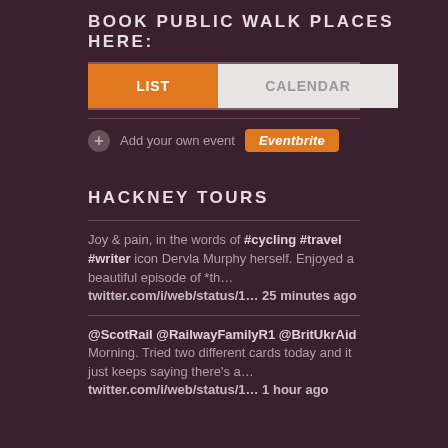BOOK PUBLIC WALK PLACES HERE:
[Figure (screenshot): Tab bar UI with LIST tab active (orange) and CALENDAR tab inactive (light grey)]
Add your own event  Eventbrite
HACKNEY TOURS
Joy & pain, in the words of #cycling #travel #writer icon Dervla Murphy herself. Enjoyed a beautiful episode of *th…
twitter.com/i/web/status/1… 25 minutes ago
@ScotRail @RailwayFamilyR1 @BritUkrAid Morning. Tried two different cards today and it just keeps saying there's a…
twitter.com/i/web/status/1… 1 hour ago